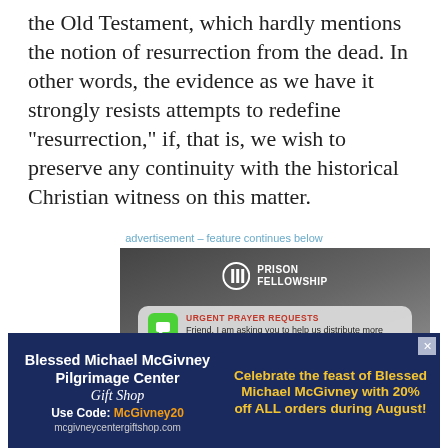the Old Testament, which hardly mentions the notion of resurrection from the dead. In other words, the evidence as we have it strongly resists attempts to redefine "resurrection," if, that is, we wish to preserve any continuity with the historical Christian witness on this matter.
advertisement – feature continues below
[Figure (screenshot): Prison Fellowship advertisement showing two notification-style cards with 'URGENT PRAYER REQUESTS' messages on a dark background]
[Figure (infographic): Blessed Michael McGivney Pilgrimage Center Gift Shop advertisement with blue background, white and orange/yellow text promoting 20% off all orders during August with code McGivney20]